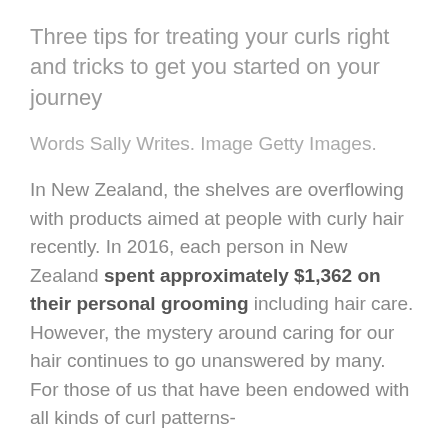Three tips for treating your curls right and tricks to get you started on your journey
Words Sally Writes. Image Getty Images.
In New Zealand, the shelves are overflowing with products aimed at people with curly hair recently. In 2016, each person in New Zealand spent approximately $1,362 on their personal grooming including hair care. However, the mystery around caring for our hair continues to go unanswered by many. For those of us that have been endowed with all kinds of curl patterns-